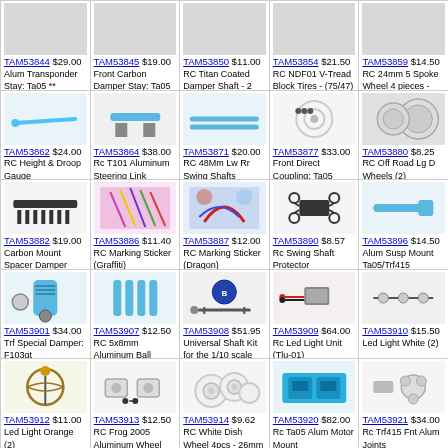| TAM53844 $29.00 Alum Transponder Stay: Ta05 ** | TAM53845 $19.00 Front Carbon Damper Stay: Ta05 | TAM53850 $11.00 RC Titan Coated Damper Shaft - 2 pieces | TAM53854 $21.50 RC NDF01 V-Tread Block Tires - (75/47) | TAM53859 $14.50 RC 24mm 5 Spoke Wheel 4 pieces - Plated/+0 |
| TAM53862 $24.00 RC Height & Droop Gauge | TAM53864 $38.00 Rc T101 Aluminum Steering Link | TAM53871 $20.00 RC 48Mm Lw Rr Swing Shafts | TAM53877 $33.00 Front Direct Coupling: Ta05 | TAM53880 $8.25 RC Off Road Lg D Wheels (2) |
| TAM53882 $19.00 Carbon Mount Spacer Damper Stay: Ta0 | TAM53886 $11.40 RC Marking Sticker (Graffiti) | TAM53887 $12.00 RC Marking Sticker (Dragon) | TAM53890 $8.57 Rc Swing Shaft Protector | TAM53896 $14.50 Alum Susp Mount Ta05/Trf415 |
| TAM53901 $34.00 Trf Special Damper: F103gt | TAM53907 $12.50 RC 5x8mm Aluminum Ball Connector - Hex Head | TAM53908 $51.95 Universal Shaft Kit for the 1/10 scale Tamiya Frog. | TAM53909 $64.00 Rc Led Light Unit (Tlu-01) | TAM53910 $15.50 Led Light White (2) |
| TAM53912 $11.00 Led Light Orange (2) | TAM53913 $12.50 RC Frog 2005 Aluminum Wheel Adapter | TAM53914 $9.62 RC White Dish Wheel 4pcs - 26mm Width Offset 0 | TAM53920 $82.00 Rc Ta05 Alum Motor Mount | TAM53921 $34.00 Rc Trf415 Fnt Alum Joints |